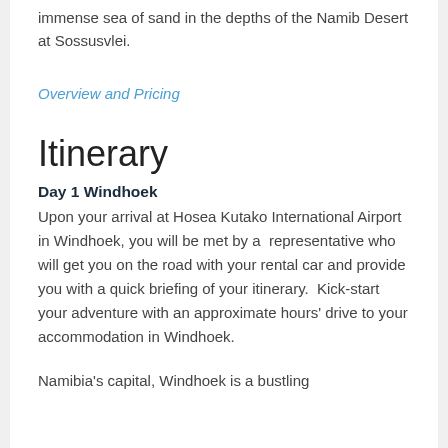immense sea of sand in the depths of the Namib Desert at Sossusvlei.
Overview and Pricing
Itinerary
Day 1 Windhoek
Upon your arrival at Hosea Kutako International Airport in Windhoek, you will be met by a representative who will get you on the road with your rental car and provide you with a quick briefing of your itinerary.  Kick-start your adventure with an approximate hours' drive to your accommodation in Windhoek.
Namibia's capital, Windhoek is a bustling